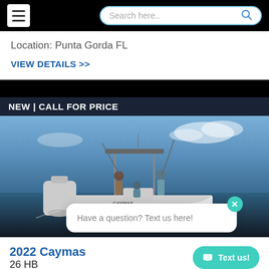Search here..
Location: Punta Gorda FL
VIEW DETAILS >>
NEW | CALL FOR PRICE
[Figure (photo): People fishing on a white center console boat (Caymas) on the ocean, catching a large fish. Boat has a T-top. Clear blue sky and water.]
Have a question? Text us here!
2022 Caymas
26 HB
Text us!